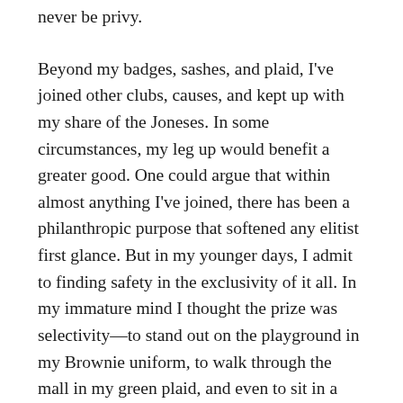never be privy.

Beyond my badges, sashes, and plaid, I've joined other clubs, causes, and kept up with my share of the Joneses. In some circumstances, my leg up would benefit a greater good. One could argue that within almost anything I've joined, there has been a philanthropic purpose that softened any elitist first glance. But in my younger days, I admit to finding safety in the exclusivity of it all. In my immature mind I thought the prize was selectivity—to stand out on the playground in my Brownie uniform, to walk through the mall in my green plaid, and even to sit in a certain section of the university commons as ridiculous as that sounds. Looking back, however, the value wasn't so shallow. It was far more personal.